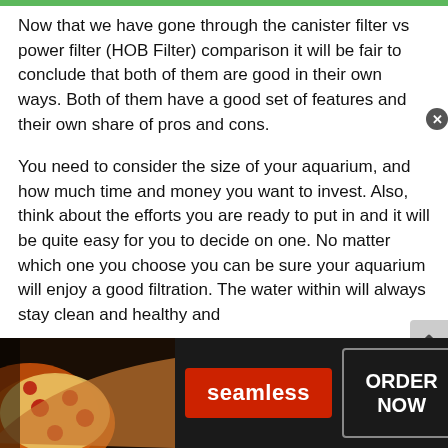Now that we have gone through the canister filter vs power filter (HOB Filter) comparison it will be fair to conclude that both of them are good in their own ways. Both of them have a good set of features and their own share of pros and cons.
You need to consider the size of your aquarium, and how much time and money you want to invest. Also, think about the efforts you are ready to put in and it will be quite easy for you to decide on one. No matter which one you choose you can be sure your aquarium will enjoy a good filtration. The water within will always stay clean and healthy and your fish will be comfortable.
[Figure (screenshot): Advertisement banner for Seamless food delivery service. Left side shows pizza slice image. Center has red button with 'seamless' text. Right side shows dark box with 'ORDER NOW' text in white. Top right has a close (x) button.]